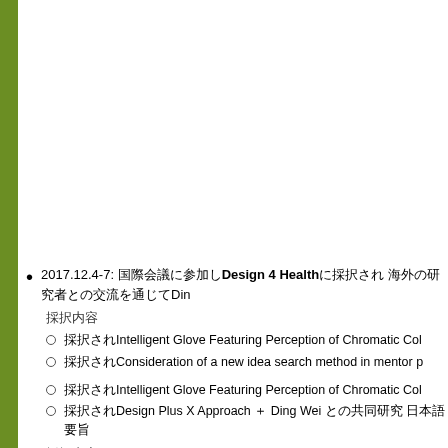2017.12.4-7: 国際会議に参加しDesign 4 Healthに採択され 海外の研究者との交流を通じてDin 発表内容,
採択内容
採択されIntelligent Glove Featuring Perception of Chromatic Col
採択されConsideration of a new idea search method in mentor p
採択されIntelligent Glove Featuring Perception of Chromatic Col
採択されDesign Plus X Approach ＋ Ding Weiとの共同研究 日本語要旨
採択内容,